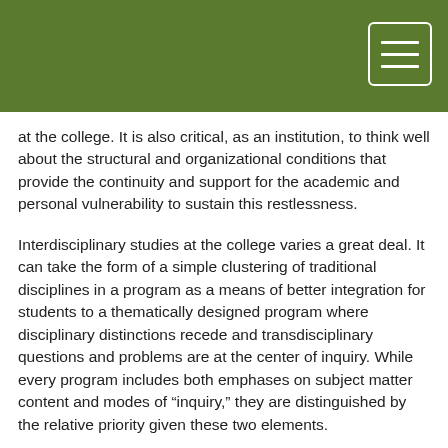at the college. It is also critical, as an institution, to think well about the structural and organizational conditions that provide the continuity and support for the academic and personal vulnerability to sustain this restlessness.
Interdisciplinary studies at the college varies a great deal. It can take the form of a simple clustering of traditional disciplines in a program as a means of better integration for students to a thematically designed program where disciplinary distinctions recede and transdisciplinary questions and problems are at the center of inquiry. While every program includes both emphases on subject matter content and modes of “inquiry,” they are distinguished by the relative priority given these two elements.
The kind of interdisciplinary program faculty teams design is based on the intended learning in a program, and the team members’ backgrounds and teaching preferences. Some areas of the curriculum at the undergraduate level, by tradition, are more inquiry-based (e.g. humanities, some areas of the social sciences) while others, again by